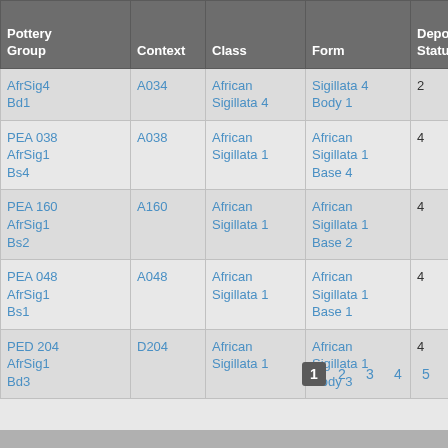| Pottery Group | Context | Class | Form | Depos Status | R Ct ▲ | R EVP |
| --- | --- | --- | --- | --- | --- | --- |
| AfrSig4 Bd1 | A034 | African Sigillata 4 | Sigillata 4 Body 1 | 2 |  |  |
| PEA 038 AfrSig1 Bs4 | A038 | African Sigillata 1 | African Sigillata 1 Base 4 | 4 |  |  |
| PEA 160 AfrSig1 Bs2 | A160 | African Sigillata 1 | African Sigillata 1 Base 2 | 4 |  |  |
| PEA 048 AfrSig1 Bs1 | A048 | African Sigillata 1 | African Sigillata 1 Base 1 | 4 |  |  |
| PED 204 AfrSig1 Bd3 | D204 | African Sigillata 1 | African Sigillata 1 Body 3 | 4 |  |  |
1 2 3 4 5